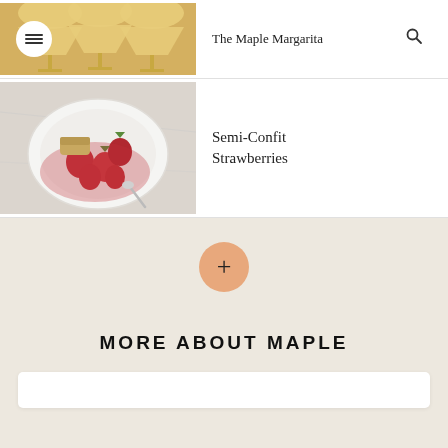[Figure (photo): Three yellow cocktail glasses (margaritas) in a row against white background, with hamburger menu button overlay on left and search button on right]
The Maple Margarita
[Figure (photo): White plate with strawberries in red sauce and a piece of cake/bread, on a marble surface with a spoon]
Semi-Confit Strawberries
[Figure (other): Orange plus (+) button circle, used to load more content]
MORE ABOUT MAPLE